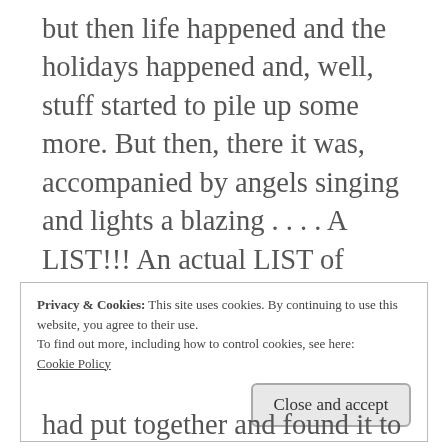but then life happened and the holidays happened and, well, stuff started to pile up some more. But then, there it was, accompanied by angels singing and lights a blazing . . . . A LIST!!! An actual LIST of things to get rid of . . . 200 items no less. Oh, how I love a list, don't you? It's so neat and orderly . . .
Privacy & Cookies: This site uses cookies. By continuing to use this website, you agree to their use.
To find out more, including how to control cookies, see here: Cookie Policy

Close and accept
had put together and found it to